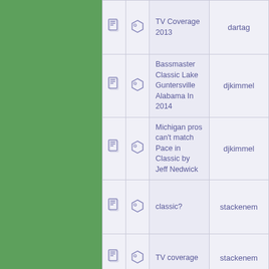|  |  | Title | User |
| --- | --- | --- | --- |
| [doc] | [tag] | TV Coverage 2013 | dartag |
| [doc] | [tag] | Bassmaster Classic Lake Guntersville Alabama In 2014 | djkimmel |
| [doc] | [tag] | Michigan pros can't match Pace in Classic by Jeff Nedwick | djkimmel |
| [doc] | [tag] | classic? | stackenem |
| [doc] | [tag] | TV coverage | stackenem |